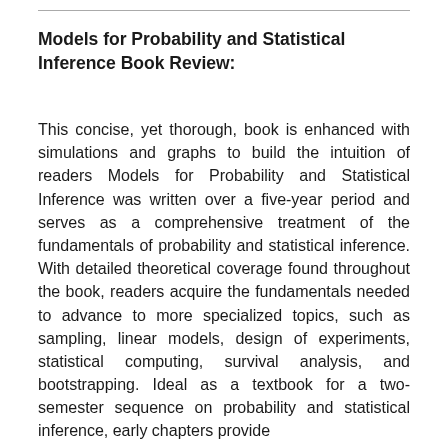Models for Probability and Statistical Inference Book Review:
This concise, yet thorough, book is enhanced with simulations and graphs to build the intuition of readers Models for Probability and Statistical Inference was written over a five-year period and serves as a comprehensive treatment of the fundamentals of probability and statistical inference. With detailed theoretical coverage found throughout the book, readers acquire the fundamentals needed to advance to more specialized topics, such as sampling, linear models, design of experiments, statistical computing, survival analysis, and bootstrapping. Ideal as a textbook for a two-semester sequence on probability and statistical inference, early chapters provide